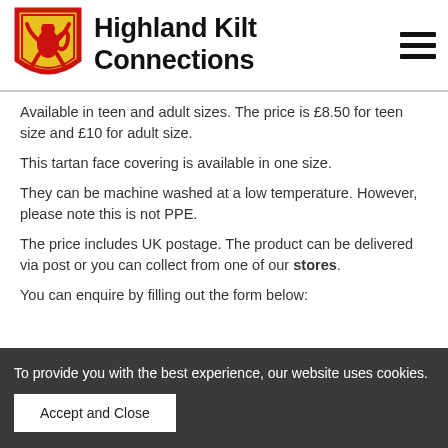Highland Kilt Connections
Available in teen and adult sizes. The price is £8.50 for teen size and £10 for adult size.
This tartan face covering is available in one size.
They can be machine washed at a low temperature. However, please note this is not PPE.
The price includes UK postage. The product can be delivered via post or you can collect from one of our stores.
You can enquire by filling out the form below:
To provide you with the best experience, our website uses cookies.